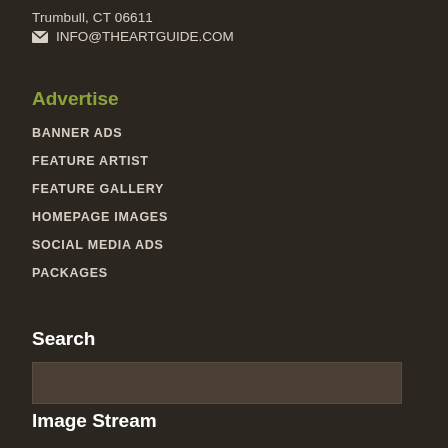Trumbull, CT 06611
INFO@THEARTGUIDE.COM
Advertise
BANNER ADS
FEATURE ARTIST
FEATURE GALLERY
HOMEPAGE IMAGES
SOCIAL MEDIA ADS
PACKAGES
Search
Image Stream